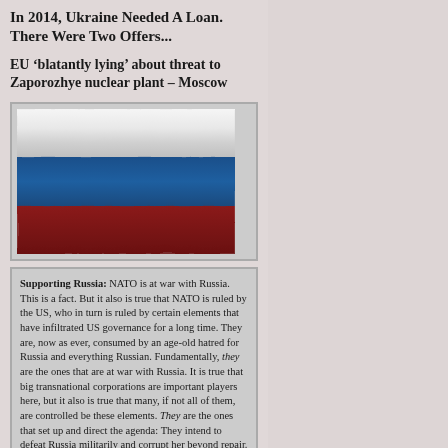In 2014, Ukraine Needed A Loan. There Were Two Offers...
EU ‘blatantly lying’ about threat to Zaporozhye nuclear plant – Moscow
[Figure (photo): Russian tricolor flag with white, blue, and dark red horizontal stripes, rendered with fabric texture.]
Supporting Russia: NATO is at war with Russia. This is a fact. But it also is true that NATO is ruled by the US, who in turn is ruled by certain elements that have infiltrated US governance for a long time. They are, now as ever, consumed by an age-old hatred for Russia and everything Russian. Fundamentally, they are the ones that are at war with Russia. It is true that big transnational corporations are important players here, but it also is true that many, if not all of them, are controlled be these elements. They are the ones that set up and direct the agenda: They intend to defeat Russia militarily and corrupt her beyond repair. They intend, now as under their Bolshevik attack on Russia in October 1917, to crush Christianity, and destroy the traditional Russian identity. They intend to rebuild Khazaria in